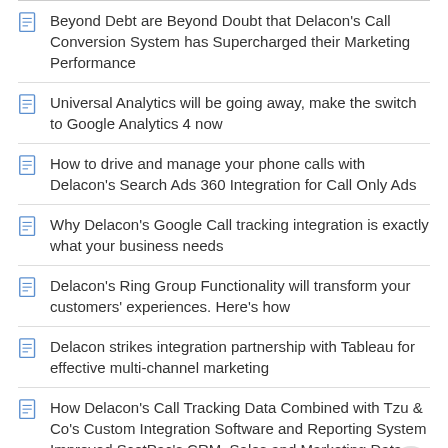Beyond Debt are Beyond Doubt that Delacon's Call Conversion System has Supercharged their Marketing Performance
Universal Analytics will be going away, make the switch to Google Analytics 4 now
How to drive and manage your phone calls with Delacon's Search Ads 360 Integration for Call Only Ads
Why Delacon's Google Call tracking integration is exactly what your business needs
Delacon's Ring Group Functionality will transform your customers' experiences. Here's how
Delacon strikes integration partnership with Tableau for effective multi-channel marketing
How Delacon's Call Tracking Data Combined with Tzu & Co's Custom Integration Software and Reporting System Improved ScotPac's CRM, Sales and Marketing Data Intelligence
Delacon's Bulk SMS should be the next tool you add to your